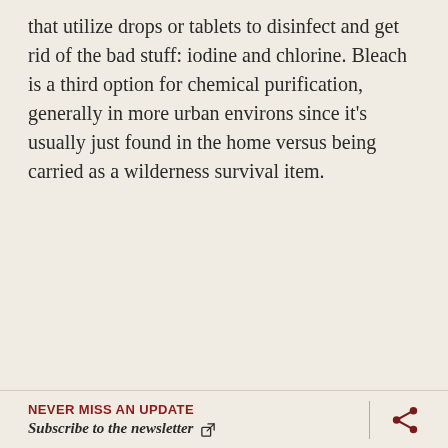that utilize drops or tablets to disinfect and get rid of the bad stuff: iodine and chlorine. Bleach is a third option for chemical purification, generally in more urban environs since it's usually just found in the home versus being carried as a wilderness survival item.
NEVER MISS AN UPDATE
Subscribe to the newsletter